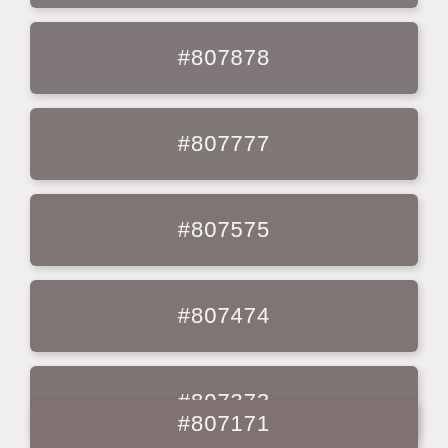[Figure (infographic): Color swatch for #807878, a muted brownish-gray]
[Figure (infographic): Color swatch for #807777, a muted brownish-gray]
[Figure (infographic): Color swatch for #807575, a muted brownish-gray]
[Figure (infographic): Color swatch for #807474, a muted brownish-gray]
[Figure (infographic): Color swatch for #807373, a muted brownish-gray]
[Figure (infographic): Color swatch for #807171, a muted brownish-gray]